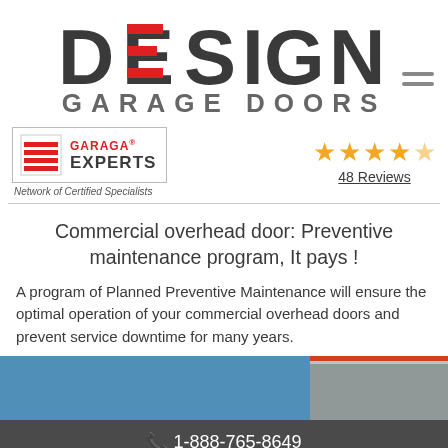[Figure (logo): Design Garage Doors logo with red horizontal bars replacing letters in DESIGN]
[Figure (logo): Garaga Experts - Network of Certified Specialists badge logo]
48 Reviews
Commercial overhead door: Preventive maintenance program, It pays !
A program of Planned Preventive Maintenance will ensure the optimal operation of your commercial overhead doors and prevent service downtime for many years.
[Figure (photo): Commercial building exterior with blue sky and red accent trim]
📞 1-888-765-8649